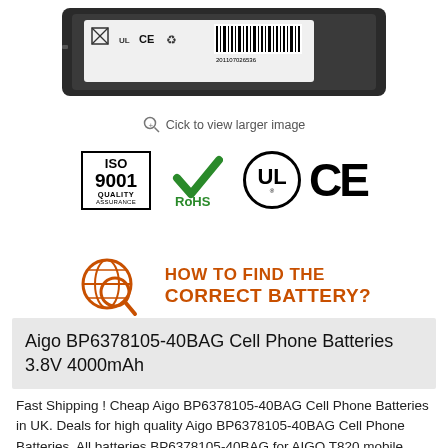[Figure (photo): Battery product photo showing the back label with certification marks including UL, CE, recycling symbol, and barcode 201107026536]
Click to view larger image
[Figure (infographic): Certification logos: ISO 9001 Quality Assurance, RoHS (green checkmark), UL (circle logo), CE mark]
[Figure (infographic): HOW TO FIND THE CORRECT BATTERY? - orange globe with magnifier icon and text]
Aigo BP6378105-40BAG Cell Phone Batteries 3.8V 4000mAh
Fast Shipping ! Cheap Aigo BP6378105-40BAG Cell Phone Batteries in UK. Deals for high quality Aigo BP6378105-40BAG Cell Phone Batteries. All batteries BP6378105-40BAG for AIGO T820 mobile phone on sale now.